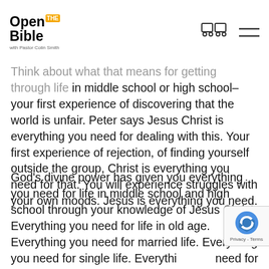Open the Bible with Pastor Colin Smith
Think about what that means for getting through life in middle school or high school–your first experience of discovering that the world is unfair. Peter says Jesus Christ is everything you need for dealing with this. Your first experience of rejection, of finding yourself outside the group, Christ is everything you need for that. You will experience struggles with your own moods. Jesus is everything you need.
God's divine power has given you everything you need for life in middle school and high school through your knowledge of Jesus Christ. Everything you need for life in old age. Everything you need for married life. Everything you need for single life. Everything you need for your mid-life crisis. Where you discover what you have done is less than you thought. You look